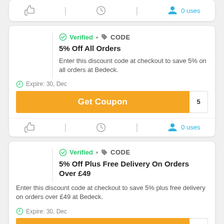[Figure (screenshot): Partial coupon card footer showing thumbs up, clock, and 0 uses icons]
Verified • CODE
5% Off All Orders
Enter this discount code at checkout to save 5% on all orders at Bedeck.
Expire: 30, Dec
Get Coupon  5
0 uses
Verified • CODE
5% Off Plus Free Delivery On Orders Over £49
Enter this discount code at checkout to save 5% plus free delivery on orders over £49 at Bedeck.
Expire: 30, Dec
Get Coupon